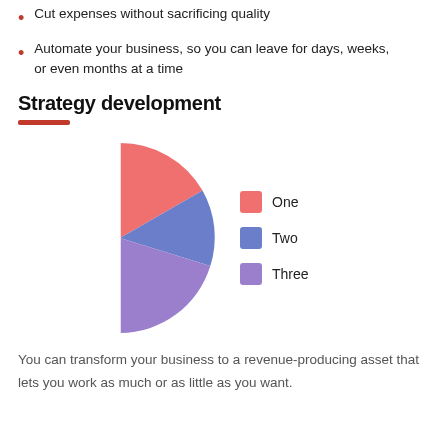Cut expenses without sacrificing quality
Automate your business, so you can leave for days, weeks, or even months at a time
Strategy development
[Figure (pie-chart): Strategy development]
You can transform your business to a revenue-producing asset that lets you work as much or as little as you want.